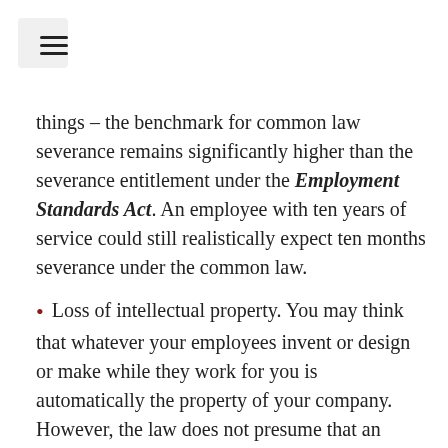≡
things – the benchmark for common law severance remains significantly higher than the severance entitlement under the Employment Standards Act. An employee with ten years of service could still realistically expect ten months severance under the common law.
Loss of intellectual property. You may think that whatever your employees invent or design or make while they work for you is automatically the property of your company. However, the law does not presume that an employer owns the intellectual property developed by its employees. To retain ownership rights over intellectual property generated by an employee, employers must have a written agreement from the